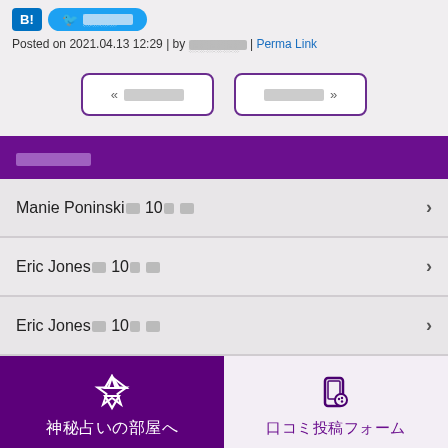Posted on 2021.04.13 12:29 | by ░░░░░░░ | Perma Link
« ░░░░░░   ░░░░░░ »
░░░░░░
Manie Poninski░░ 10░ ░░
Eric Jones░░ 10░ ░░
Eric Jones░░ 10░ ░░
神秘占いの部屋へ
口コミ投稿フォーム